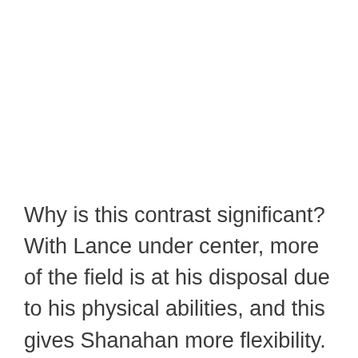Why is this contrast significant? With Lance under center, more of the field is at his disposal due to his physical abilities, and this gives Shanahan more flexibility. He can stretch the field in all directions and attack downfield with greater ease. This also means he has more ways to get to plays he loves